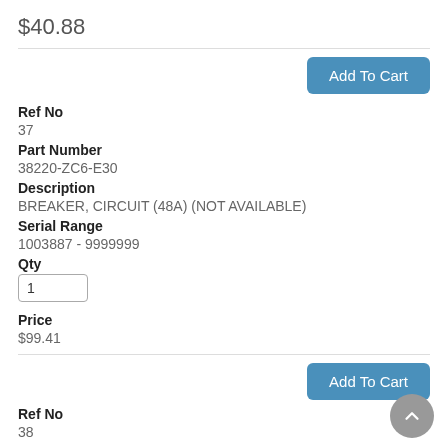$40.88
Add To Cart
Ref No
37
Part Number
38220-ZC6-E30
Description
BREAKER, CIRCUIT (48A) (NOT AVAILABLE)
Serial Range
1003887 - 9999999
Qty
Price
$99.41
Add To Cart
Ref No
38